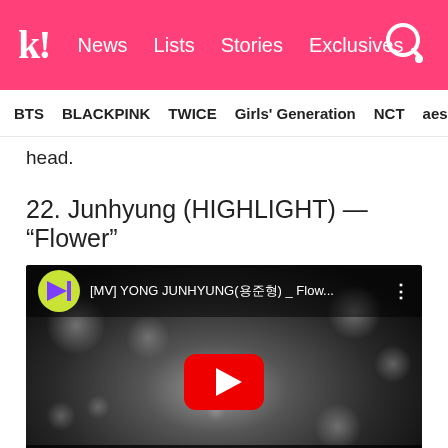k! News Lists Stories Exclusives
BTS BLACKPINK TWICE Girls' Generation NCT aespa
head.
22. Junhyung (HIGHLIGHT) — “Flower”
[Figure (screenshot): YouTube video embed showing [MV] YONG JUNHYUNG(용준형) _ Flow... with 1theK channel logo, black and white music video thumbnail of a man holding flowers with bokeh lights, red YouTube play button, and OFFICIAL text at bottom]